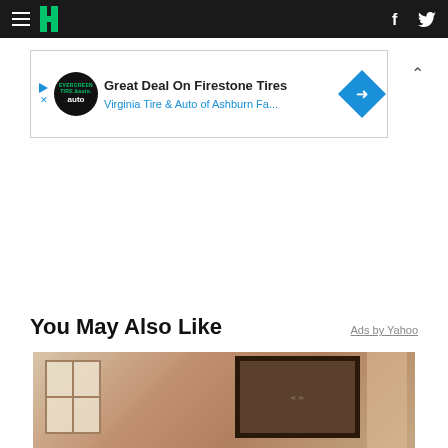HuffPost navigation header with hamburger menu, logo, Facebook and Twitter icons
[Figure (screenshot): Advertisement banner: Great Deal On Firestone Tires - Virginia Tire & Auto of Ashburn Fa...]
You May Also Like
Ads by Yahoo
[Figure (photo): Interior room photo showing a window on the left and a framed artwork on the wall]